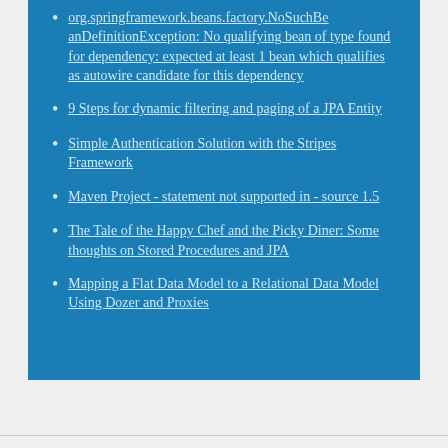org.springframework.beans.factory.NoSuchBeanDefinitionException: No qualifying bean of type found for dependency: expected at least 1 bean which qualifies as autowire candidate for this dependency
9 Steps for dynamic filtering and paging of a JPA Entity
Simple Authentication Solution with the Stripes Framework
Maven Project - statement not supported in - source 1.5
The Tale of the Happy Chef and the Picky Diner: Some thoughts on Stored Procedures and JPA
Mapping a Flat Data Model to a Relational Data Model Using Dozer and Proxies